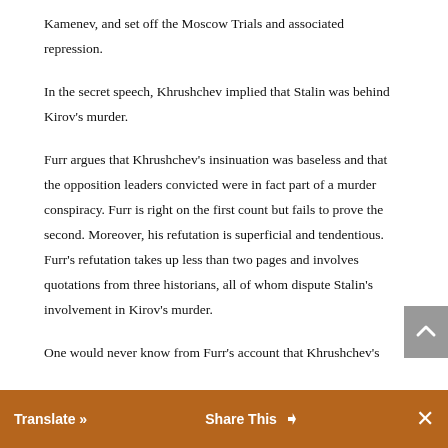Kamenev, and set off the Moscow Trials and associated repression.
In the secret speech, Khrushchev implied that Stalin was behind Kirov's murder.
Furr argues that Khrushchev's insinuation was baseless and that the opposition leaders convicted were in fact part of a murder conspiracy. Furr is right on the first count but fails to prove the second. Moreover, his refutation is superficial and tendentious. Furr's refutation takes up less than two pages and involves quotations from three historians, all of whom dispute Stalin's involvement in Kirov's murder.
One would never know from Furr's account that Khrushchev's … the conventional wisdom among such Cold
Translate »   Share This   ✕